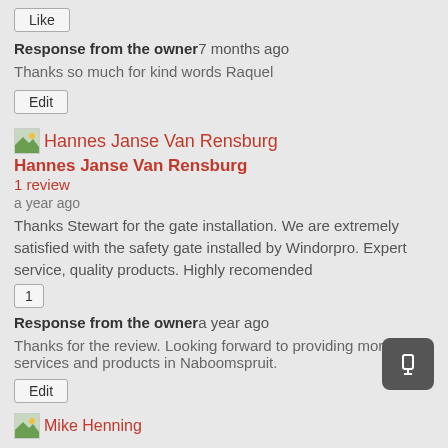Like
Response from the owner 7 months ago
Thanks so much for kind words Raquel
Edit
Hannes Janse Van Rensburg
Hannes Janse Van Rensburg
1 review
a year ago
Thanks Stewart for the gate installation. We are extremely satisfied with the safety gate installed by Windorpro. Expert service, quality products. Highly recomended
1
Response from the owner a year ago
Thanks for the review. Looking forward to providing more services and products in Naboomspruit.
Edit
Mike Henning